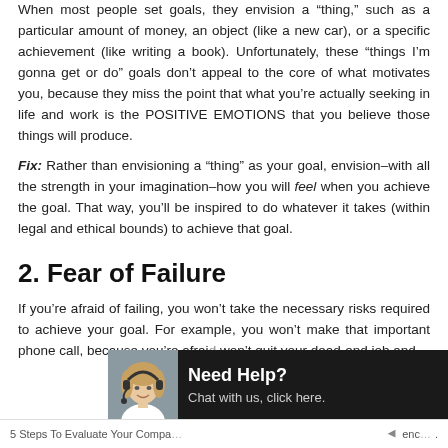When most people set goals, they envision a “thing,” such as a particular amount of money, an object (like a new car), or a specific achievement (like writing a book). Unfortunately, these “things I’m gonna get or do” goals don’t appeal to the core of what motivates you, because they miss the point that what you’re actually seeking in life and work is the POSITIVE EMOTIONS that you believe those things will produce.
Fix: Rather than envisioning a “thing” as your goal, envision–with all the strength in your imagination–how you will feel when you achieve the goal. That way, you’ll be inspired to do whatever it takes (within legal and ethical bounds) to achieve that goal.
2. Fear of Failure
If you’re afraid of failing, you won’t take the necessary risks required to achieve your goal. For example, you won’t make that important phone call, because you’re afrai… won’t quit your dead-end job and…
[Figure (other): Chat support widget with a photo of a woman wearing a headset, dark background, text reading 'Need Help? Chat with us, click here.']
5 Steps To Evaluate Your Compa… ◄ enc…